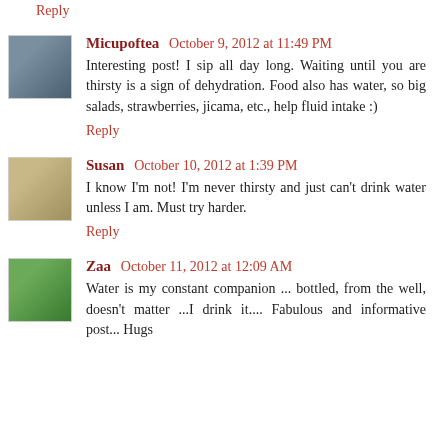Reply
Micupoftea  October 9, 2012 at 11:49 PM
Interesting post! I sip all day long. Waiting until you are thirsty is a sign of dehydration. Food also has water, so big salads, strawberries, jicama, etc., help fluid intake :)
Reply
Susan  October 10, 2012 at 1:39 PM
I know I'm not! I'm never thirsty and just can't drink water unless I am. Must try harder.
Reply
Zaa  October 11, 2012 at 12:09 AM
Water is my constant companion ... bottled, from the well, doesn't matter ...I drink it.... Fabulous and informative post... Hugs